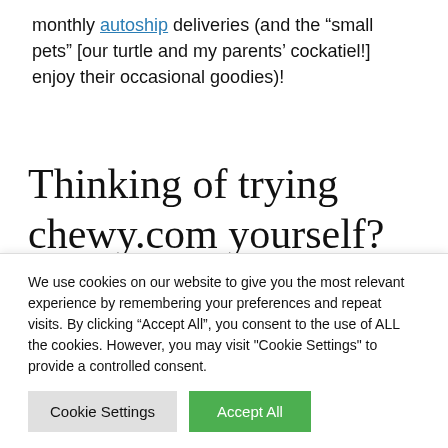monthly autoship deliveries (and the “small pets” [our turtle and my parents’ cockatiel!] enjoy their occasional goodies)!
Thinking of trying chewy.com yourself? Now that you’ve read through our chewy review, be sure to check out our favourite
We use cookies on our website to give you the most relevant experience by remembering your preferences and repeat visits. By clicking “Accept All”, you consent to the use of ALL the cookies. However, you may visit "Cookie Settings" to provide a controlled consent.